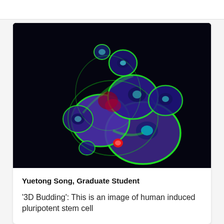[Figure (photo): Fluorescence microscopy image of human induced pluripotent stem cells showing '3D Budding'. The image shows clusters of cells on a black background, with bright green outlines, blue/purple cell bodies, cyan-colored nuclei, and small red spots. Multiple spherical cell clusters of varying sizes are visible.]
Yuetong Song, Graduate Student
'3D Budding': This is an image of human induced pluripotent stem cell